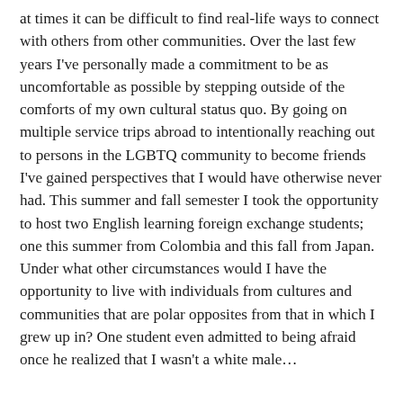at times it can be difficult to find real-life ways to connect with others from other communities. Over the last few years I've personally made a commitment to be as uncomfortable as possible by stepping outside of the comforts of my own cultural status quo. By going on multiple service trips abroad to intentionally reaching out to persons in the LGBTQ community to become friends I've gained perspectives that I would have otherwise never had. This summer and fall semester I took the opportunity to host two English learning foreign exchange students; one this summer from Colombia and this fall from Japan.  Under what other circumstances would I have the opportunity to live with individuals from cultures and communities that are polar opposites from that in which I grew up in? One student even admitted to being afraid once he realized that I wasn't a white male…